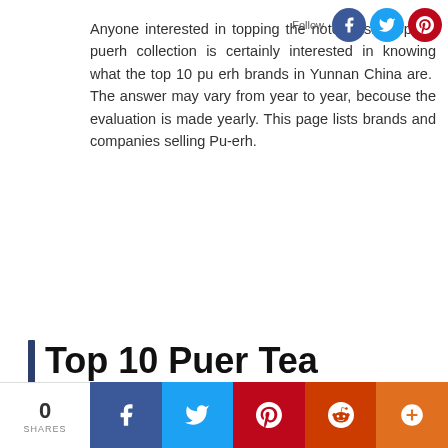Anyone interested in topping the notoriously popular puerh collection is certainly interested in knowing what the top 10 pu erh brands in Yunnan China are. The answer may vary from year to year, becouse the evaluation is made yearly. This page lists brands and companies selling Pu-erh.
Top 10 Puer Tea Brands in Yunnan
| Ranking No. | Brand Name |
| --- | --- |
| 1 | Dayi Pu-erh Tea |
| 2 | Xiaguan Tuocha |
| 3 | Lancang Ancient Tea |